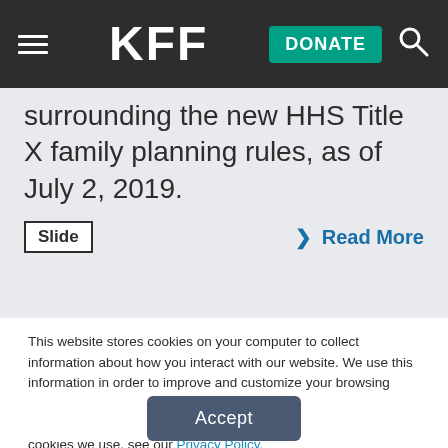KFF — DONATE
surrounding the new HHS Title X family planning rules, as of July 2, 2019.
Slide   › Read More
This website stores cookies on your computer to collect information about how you interact with our website. We use this information in order to improve and customize your browsing experience and for analytics and metrics about our visitors both on this website and other media. To find out more about the cookies we use, see our Privacy Policy.
Accept